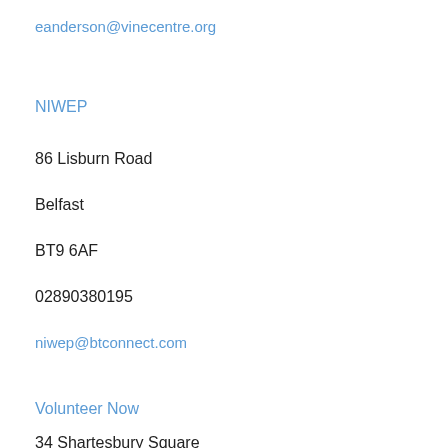eanderson@vinecentre.org
NIWEP
86 Lisburn Road
Belfast
BT9 6AF
02890380195
niwep@btconnect.com
Volunteer Now
34 Shartesbury Square